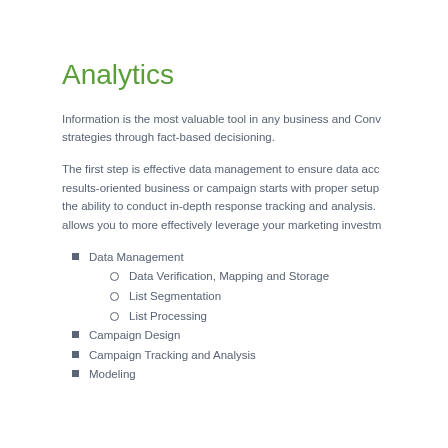Analytics
Information is the most valuable tool in any business and Conv strategies through fact-based decisioning.
The first step is effective data management to ensure data acc results-oriented business or campaign starts with proper setup the ability to conduct in-depth response tracking and analysis. allows you to more effectively leverage your marketing investm
Data Management
Data Verification, Mapping and Storage
List Segmentation
List Processing
Campaign Design
Campaign Tracking and Analysis
Modeling